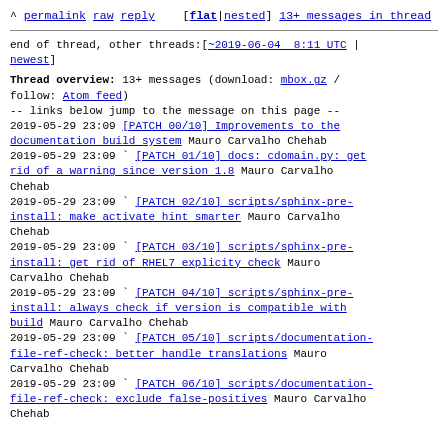^ permalink raw reply [flat|nested] 13+ messages in thread
end of thread, other threads:[~2019-06-04 8:11 UTC | newest]
Thread overview: 13+ messages (download: mbox.gz / follow: Atom feed)
-- links below jump to the message on this page --
2019-05-29 23:09 [PATCH 00/10] Improvements to the documentation build system Mauro Carvalho Chehab
2019-05-29 23:09 ` [PATCH 01/10] docs: cdomain.py: get rid of a warning since version 1.8 Mauro Carvalho Chehab
2019-05-29 23:09 ` [PATCH 02/10] scripts/sphinx-pre-install: make activate hint smarter Mauro Carvalho Chehab
2019-05-29 23:09 ` [PATCH 03/10] scripts/sphinx-pre-install: get rid of RHEL7 explicity check Mauro Carvalho Chehab
2019-05-29 23:09 ` [PATCH 04/10] scripts/sphinx-pre-install: always check if version is compatible with build Mauro Carvalho Chehab
2019-05-29 23:09 ` [PATCH 05/10] scripts/documentation-file-ref-check: better handle translations Mauro Carvalho Chehab
2019-05-29 23:09 ` [PATCH 06/10] scripts/documentation-file-ref-check: exclude false-positives Mauro Carvalho Chehab